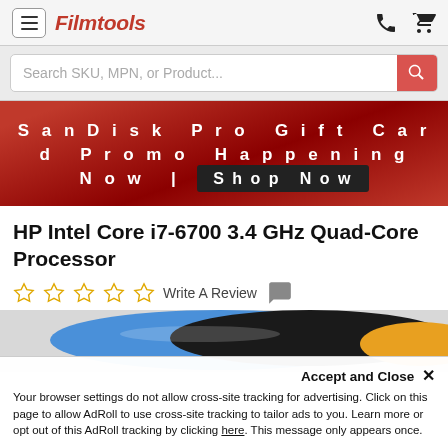Filmtools
Search SKU, MPN, or Product...
[Figure (infographic): SanDisk Pro Gift Card Promo Happening Now | Shop Now banner on red gradient background]
HP Intel Core i7-6700 3.4 GHz Quad-Core Processor
Write A Review
[Figure (photo): HP Intel Core i7-6700 processor product image, partially visible]
Accept and Close ×
Your browser settings do not allow cross-site tracking for advertising. Click on this page to allow AdRoll to use cross-site tracking to tailor ads to you. Learn more or opt out of this AdRoll tracking by clicking here. This message only appears once.